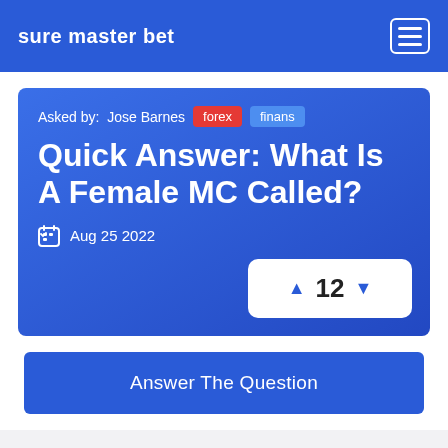sure master bet
Asked by: Jose Barnes  forex  finans
Quick Answer: What Is A Female MC Called?
Aug 25 2022
▲ 12 ▼
Answer The Question
Similar Questions 🔖